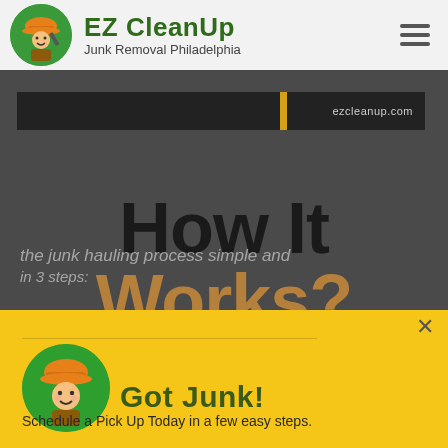EZ CleanUp — Junk Removal Philadelphia
[Figure (screenshot): Website screenshot showing EZ CleanUp header with logo, brand name, and hamburger menu. Dark hero background with a partial banner. Large heading 'How It Works?' overlaid. Yellow popup overlay at bottom with worker mascot circle, 'Got Junk!' heading, and 'Schedule a Pick Up Today in a few easy steps.' text.]
How It Works?
the junk hauling process simple and
in 3 steps:
Got Junk!
Schedule a Pick Up Today in a few easy steps.